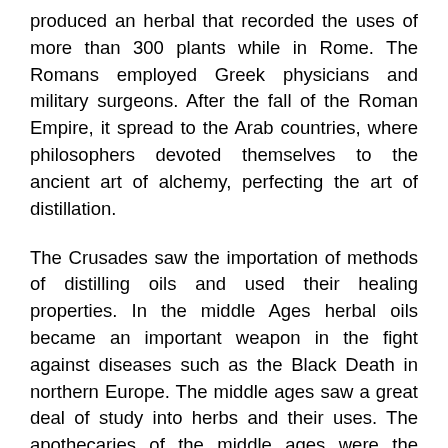produced an herbal that recorded the uses of more than 300 plants while in Rome. The Romans employed Greek physicians and military surgeons. After the fall of the Roman Empire, it spread to the Arab countries, where philosophers devoted themselves to the ancient art of alchemy, perfecting the art of distillation.
The Crusades saw the importation of methods of distilling oils and used their healing properties. In the middle Ages herbal oils became an important weapon in the fight against diseases such as the Black Death in northern Europe. The middle ages saw a great deal of study into herbs and their uses. The apothecaries of the middle ages were the physicians of the time, and every in great house